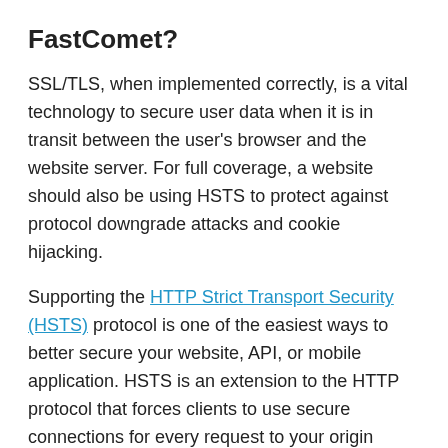FastComet?
SSL/TLS, when implemented correctly, is a vital technology to secure user data when it is in transit between the user's browser and the website server. For full coverage, a website should also be using HSTS to protect against protocol downgrade attacks and cookie hijacking.
Supporting the HTTP Strict Transport Security (HSTS) protocol is one of the easiest ways to better secure your website, API, or mobile application. HSTS is an extension to the HTTP protocol that forces clients to use secure connections for every request to your origin server. FastComet provides HSTS support on all our Shared Web Hosting packages with just a couple of clicks. To implement HSTS for your website, you must have a valid SSL Certificate. If you employ subdomains in your content structure, you will need a Wildcard Certificate to cover HTTPS only. Alternatively, you're pretty safe with a Domain